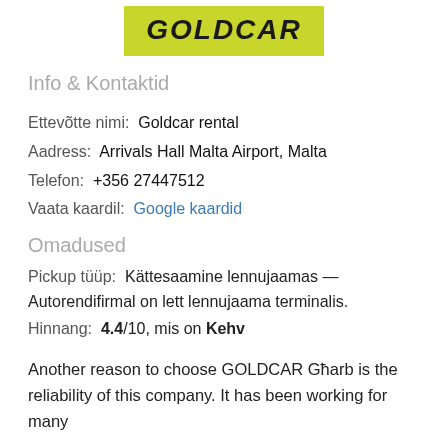[Figure (logo): GOLDCAR logo — yellow/green background with bold italic black text GOLDCAR]
Info & Kontaktid
Ettevõtte nimi:  Goldcar rental
Aadress:  Arrivals Hall Malta Airport, Malta
Telefon:  +356 27447512
Vaata kaardil:  Google kaardid
Omadused
Pickup tüüp:  Kättesaamine lennujaamas — Autorendifirmal on lett lennujaama terminalis.
Hinnang:  4.4/10, mis on Kehv
Another reason to choose GOLDCAR Gharb is the reliability of this company. It has been working for many